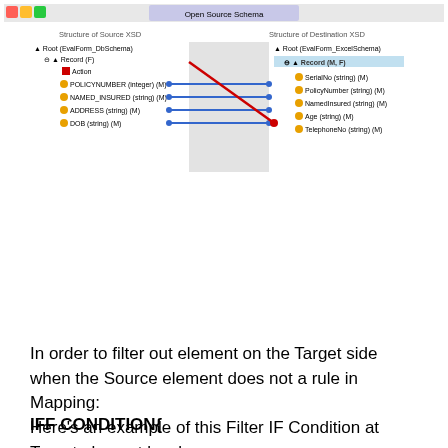[Figure (screenshot): Screenshot of a schema mapping tool showing two XSD schema trees connected by mapping lines. Left side shows 'Structure of Source XSD' with Root (EvalForm_DbSchema), Record (F), Action, POLICYNUMBER (integer)(M), NAMED_INSURED (string)(M), ADDRESS (string)(M), DOB (string)(M). Right side shows 'Structure of Destination XSD' with Root (EvalForm_ExcelSchema), Record (M, F) highlighted in blue, SerialNo (string)(M), PolicyNumber (string)(M), NamedInsured (string)(M), Age (string)(M), TelephoneNo (string)(M). Blue horizontal lines connect source fields to destination fields, and a red diagonal line crosses through the mapping. A gray highlight covers part of the middle area.]
In order to filter out element on the Target side when the Source element does not a rule in Mapping:
Here's an example of this Filter IF Condition at Target element level:
IFF CONDITION{